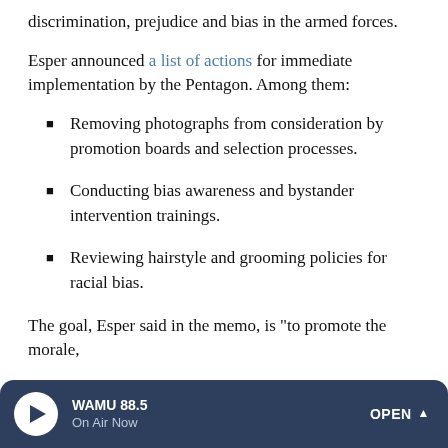discrimination, prejudice and bias in the armed forces.
Esper announced a list of actions for immediate implementation by the Pentagon. Among them:
Removing photographs from consideration by promotion boards and selection processes.
Conducting bias awareness and bystander intervention trainings.
Reviewing hairstyle and grooming policies for racial bias.
The goal, Esper said in the memo, is "to promote the morale,
WAMU 88.5 On Air Now OPEN